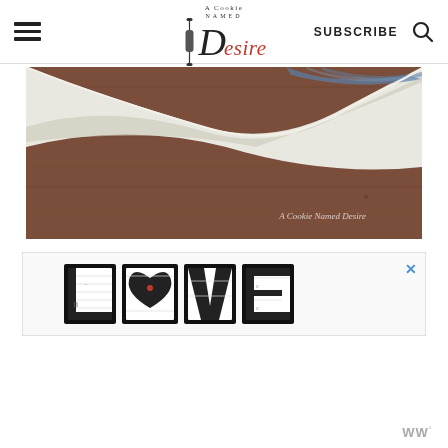A Cookie Named Desire — SUBSCRIBE
[Figure (photo): Close-up photo of a folded white and blue striped cloth/towel on a rustic brown wooden surface, with watermark text 'A Cookie Named Desire' in the lower right corner.]
[Figure (illustration): Decorative 'LOVE' text advertisement banner with intricate black and white illustrated patterns inside each letter, featuring a red heart accent in the 'O', with a blue X close button on the right.]
WW°